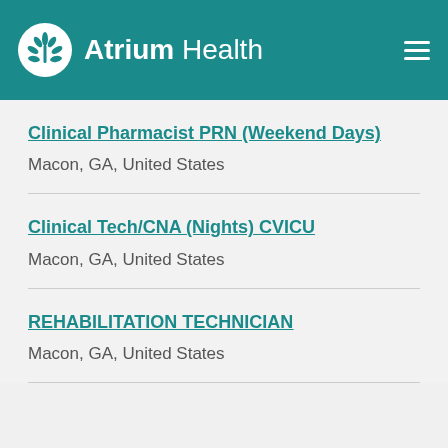Atrium Health
Clinical Pharmacist PRN (Weekend Days)
Macon, GA, United States
Clinical Tech/CNA (Nights) CVICU
Macon, GA, United States
REHABILITATION TECHNICIAN
Macon, GA, United States